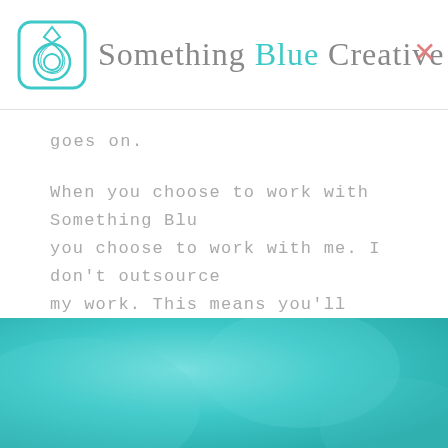Something Blue Creative
goes on.
When you choose to work with Something Blu you choose to work with me. I don’t outsource my work. This means you’ll communicate dire me from inquiry all the way through to final d and beyond.
[Figure (illustration): Teal/turquoise decorative band at bottom of page]